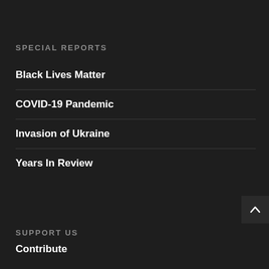SPECIAL REPORTS
Black Lives Matter
COVID-19 Pandemic
Invasion of Ukraine
Years In Review
SUPPORT US
Contribute